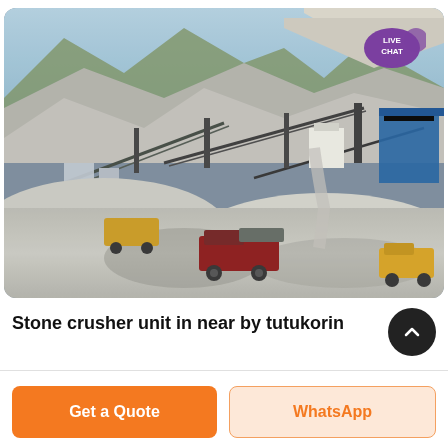[Figure (photo): Aerial view of a large stone crusher / quarry plant with conveyor belts, piles of crushed gravel, trucks, and industrial machinery set against a mountainous backdrop. A 'LIVE CHAT' speech-bubble icon appears in the upper-right corner of the photo.]
Stone crusher unit in near by tutukorin
Get a Quote
WhatsApp